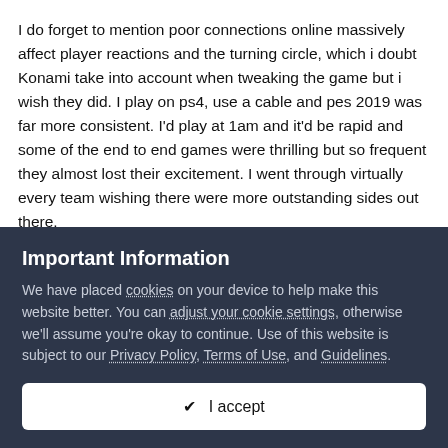I do forget to mention poor connections online massively affect player reactions and the turning circle, which i doubt Konami take into account when tweaking the game but i wish they did. I play on ps4, use a cable and pes 2019 was far more consistent. I'd play at 1am and it'd be rapid and some of the end to end games were thrilling but so frequent they almost lost their excitement. I went through virtually every team wishing there were more outstanding sides out there.
I've found a formation i like that's made a big difference. I usually have a back 4 then a tight diamond with 2 ahead, I've kept the
Important Information
We have placed cookies on your device to help make this website better. You can adjust your cookie settings, otherwise we'll assume you're okay to continue. Use of this website is subject to our Privacy Policy, Terms of Use, and Guidelines.